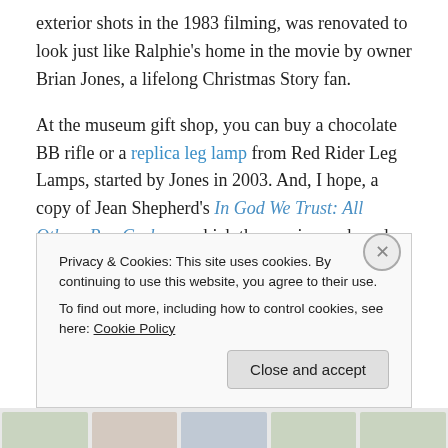exterior shots in the 1983 filming, was renovated to look just like Ralphie's home in the movie by owner Brian Jones, a lifelong Christmas Story fan.
At the museum gift shop, you can buy a chocolate BB rifle or a replica leg lamp from Red Rider Leg Lamps, started by Jones in 2003. And, I hope, a copy of Jean Shepherd's In God We Trust: All Others Pay Cash, on which the movie was based. Ho ho ho!
Privacy & Cookies: This site uses cookies. By continuing to use this website, you agree to their use.
To find out more, including how to control cookies, see here: Cookie Policy